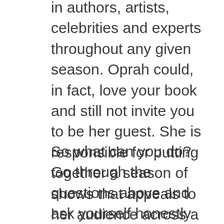in authors, artists, celebrities and experts throughout any given season. Oprah could, in fact, love your book and still not invite you to be her guest. She is responsible for putting together a season of shows that appeals to her audience across a wide range of subjects. You and your book may or may not fit the needs of her show during a given season. That doesn't reflect on you as a writer or your book.
So what can you do? Go through the questions above and ask yourself honestly “Is my book right for Oprah?” If you believe it is, submit your pitch. But if after honest reflection you see that it’s not, your time might be better spent connecting with your natural readership